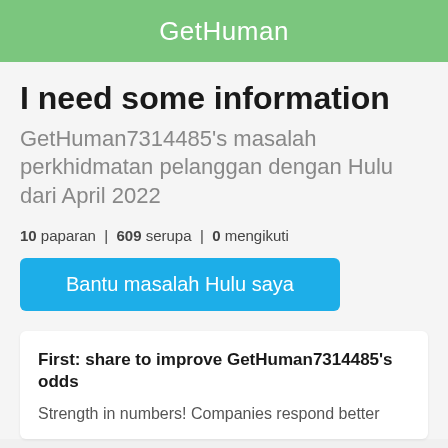GetHuman
I need some information
GetHuman7314485's masalah perkhidmatan pelanggan dengan Hulu dari April 2022
10 paparan | 609 serupa | 0 mengikuti
Bantu masalah Hulu saya
First: share to improve GetHuman7314485's odds
Strength in numbers! Companies respond better